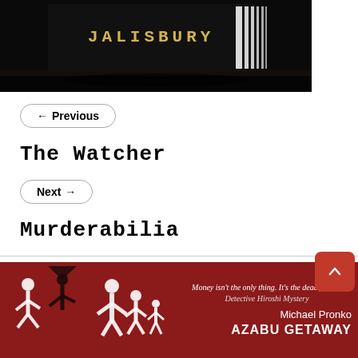[Figure (photo): Dark background image with 'SALISBURY' text in gold/yellow monospace font and a white door-like graphic element against a black background.]
← Previous
The Watcher
Next →
Murderabilia
[Figure (illustration): Red advertisement banner featuring white silhouettes of people running/figures on left, tagline 'Money isn't the only thing. It's the deadly thing', series name 'Detective Hiroshi Mystery', author 'Michael Pronko', book title 'AZABU GETAWAY']